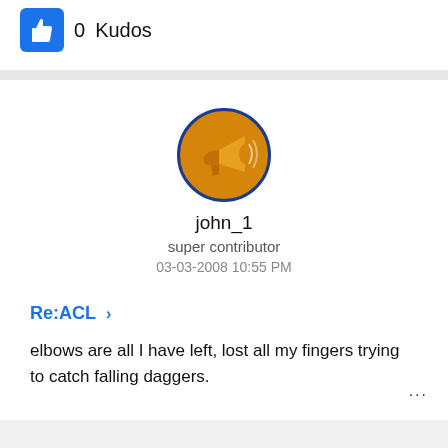[Figure (other): Blue thumbs-up button icon]
0 Kudos
john_1
super contributor
03-03-2008 10:55 PM
Re:ACL ›
elbows are all I have left, lost all my fingers trying to catch falling daggers.